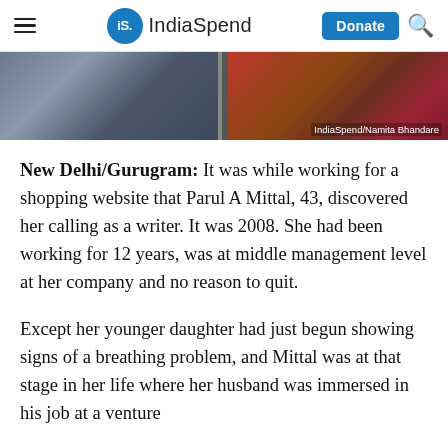IndiaSpend — Donate | Search
[Figure (photo): Two-panel photo strip: left panel shows a person seated on a bench with hands in lap, wearing a grey-blue top and jeans; right panel shows a person in colorful red/floral attire using a mobile phone. Credit: IndiaSpend/Namita Bhandare]
New Delhi/Gurugram: It was while working for a shopping website that Parul A Mittal, 43, discovered her calling as a writer. It was 2008. She had been working for 12 years, was at middle management level at her company and no reason to quit.
Except her younger daughter had just begun showing signs of a breathing problem, and Mittal was at that stage in her life where her husband was immersed in his job at a venture